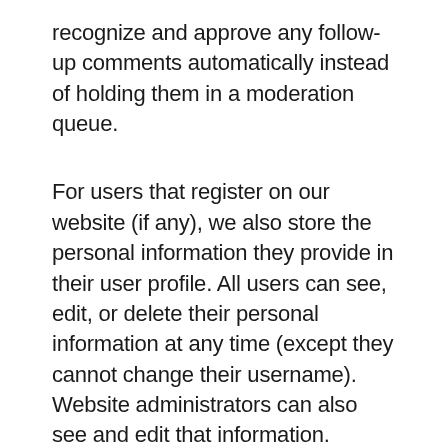recognize and approve any follow-up comments automatically instead of holding them in a moderation queue.
For users that register on our website (if any), we also store the personal information they provide in their user profile. All users can see, edit, or delete their personal information at any time (except they cannot change their username). Website administrators can also see and edit that information.
What rights you